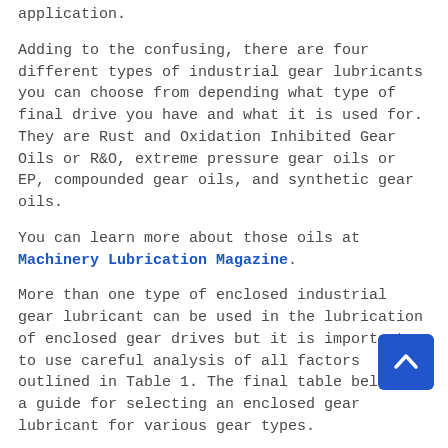application.
Adding to the confusing, there are four different types of industrial gear lubricants you can choose from depending what type of final drive you have and what it is used for. They are Rust and Oxidation Inhibited Gear Oils or R&O, extreme pressure gear oils or EP, compounded gear oils, and synthetic gear oils.
You can learn more about those oils at Machinery Lubrication Magazine.
More than one type of enclosed industrial gear lubricant can be used in the lubrication of enclosed gear drives but it is important to use careful analysis of all factors outlined in Table 1. The final table below is a guide for selecting an enclosed gear lubricant for various gear types.
Finally, if you're simply looking for a one gear oil fits all, you can go with SAE 85W-140. This is the weight oil used by replacement drive Terrapart in the UK according to sales manager Richard Huskinson.